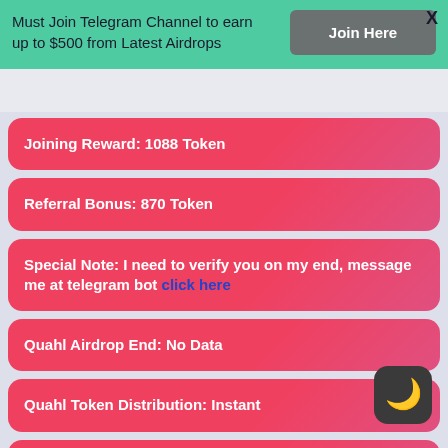Must Join Telegram Channel to earn up to $500 from Latest Airdrops
Join Here
X
Joining Reward:  1088 Token
Referral Bonus: 870 Token
Special Note: I need to verify you on my end, message me at telegram bot click here
Quahl Airdrop End: No Data
Quahl Token Distribution: Instant
Quahl Smart Contract Address: No data...